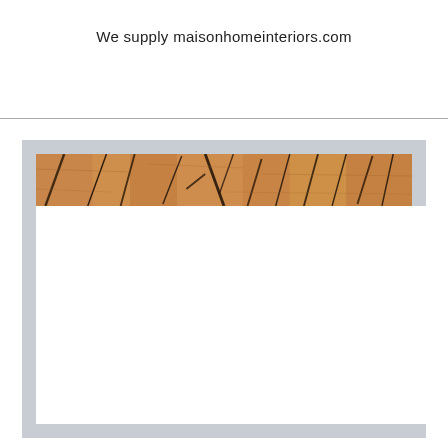We supply maisonhomeinteriors.com
[Figure (photo): A framed card or book cover with a wood-grain photographic strip across the top showing cross-section of tree rings and cracks, mounted on a light gray background. The lower portion is a white rectangle.]